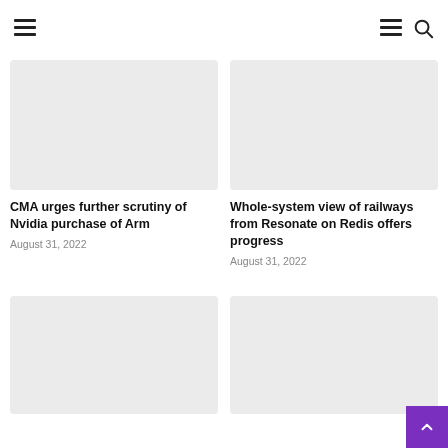Navigation header with menu and search icons
[Figure (photo): Gray placeholder image for article 1]
CMA urges further scrutiny of Nvidia purchase of Arm
August 31, 2022
[Figure (photo): Gray placeholder image for article 2]
Whole-system view of railways from Resonate on Redis offers progress
August 31, 2022
[Figure (photo): Gray placeholder image for article 3]
[Figure (photo): Gray placeholder image for article 4]